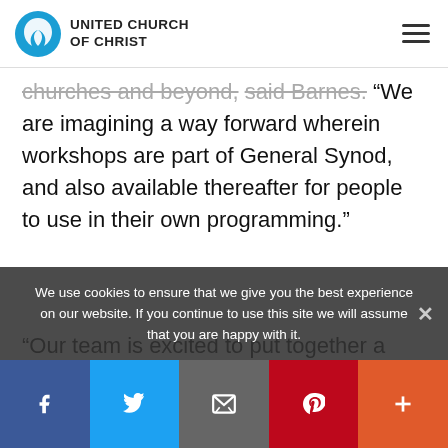UNITED CHURCH OF CHRIST
churches and beyond, said Barnes. We are imagining a way forward wherein workshops are part of General Synod, and also available thereafter for people to use in their own programming."
"Our team is excited to put together a program
We use cookies to ensure that we give you the best experience on our website. If you continue to use this site we will assume that you are happy with it.